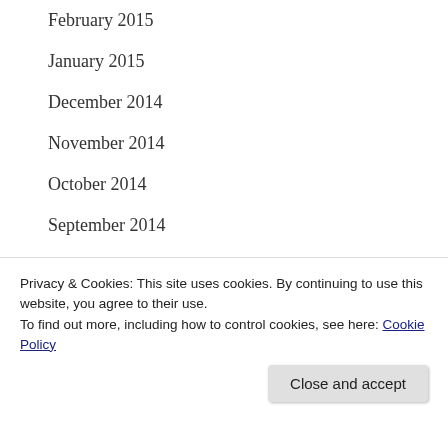February 2015
January 2015
December 2014
November 2014
October 2014
September 2014
August 2014
July 2014
June 2014
May 2014
Privacy & Cookies: This site uses cookies. By continuing to use this website, you agree to their use.
To find out more, including how to control cookies, see here: Cookie Policy
Close and accept